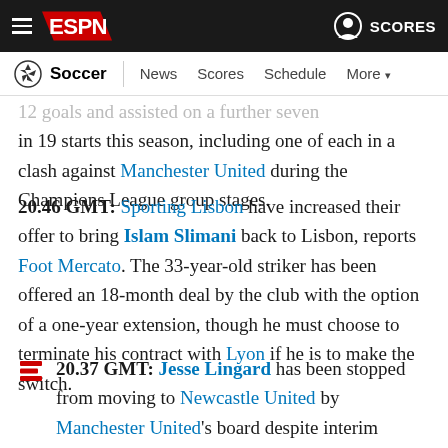ESPN - Soccer | News Scores Schedule More
...scored 12 goals and assisted on a further seven in 19 starts this season, including one of each in a clash against Manchester United during the Champions League group stages.
20.46 GMT: Sporting Lisbon have increased their offer to bring Islam Slimani back to Lisbon, reports Foot Mercato. The 33-year-old striker has been offered an 18-month deal by the club with the option of a one-year extension, though he must choose to terminate his contract with Lyon if he is to make the switch.
20.37 GMT: Jesse Lingard has been stopped from moving to Newcastle United by Manchester United's board despite interim manager Ralf Rangnick giving the move his blessing, sources have told ESPN's Rob Dawson. United